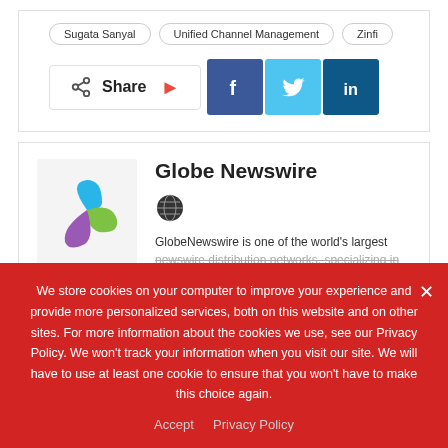Sugata Sanyal
Unified Channel Management
Zinfi
[Figure (infographic): Share button with social media icons: Facebook (blue), Twitter (light blue), LinkedIn (dark blue)]
Globe Newswire
[Figure (logo): Globe Newswire logo: three-leaf pinwheel in blue, green, and purple on light gray background]
[Figure (other): Globe/world icon in dark circular badge]
GlobeNewswire is one of the world's largest newswire distribution networks, specializing in
We store cookies on your computer to improve your experience and provide more personalized services, both on this website and on other sites. For more information about the cookies we use, see our Privacy Policy. We won't track your information when you visit our site. We will have to use at least one cookie to ensure that you won't have to make this choice again.
Accept   Privacy Policy